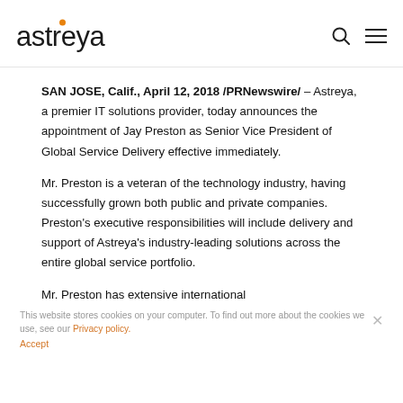astreya [logo with search and menu icons]
SAN JOSE, Calif., April 12, 2018 /PRNewswire/ – Astreya, a premier IT solutions provider, today announces the appointment of Jay Preston as Senior Vice President of Global Service Delivery effective immediately.
Mr. Preston is a veteran of the technology industry, having successfully grown both public and private companies. Preston's executive responsibilities will include delivery and support of Astreya's industry-leading solutions across the entire global service portfolio.
Mr. Preston has extensive international
This website stores cookies on your computer. To find out more about the cookies we use, see our Privacy policy. Accept